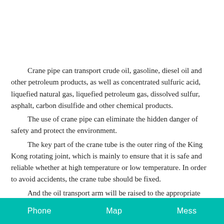Crane pipe can transport crude oil, gasoline, diesel oil and other petroleum products, as well as concentrated sulfuric acid, liquefied natural gas, liquefied petroleum gas, dissolved sulfur, asphalt, carbon disulfide and other chemical products. The use of crane pipe can eliminate the hidden danger of safety and protect the environment. The key part of the crane tube is the outer ring of the King Kong rotating joint, which is mainly to ensure that it is safe and reliable whether at high temperature or low temperature. In order to avoid accidents, the crane tube should be fixed. And the oil transport arm will be raised to the appropriate position, so
Phone    Map    Mess